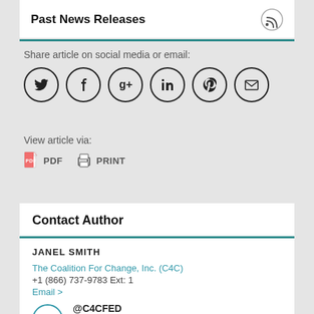Past News Releases
Share article on social media or email:
View article via:
PDF   PRINT
Contact Author
JANEL SMITH
The Coalition For Change, Inc. (C4C)
+1 (866) 737-9783 Ext: 1
Email >
@C4CFED
since: 02/2011
Follow >
The Coalition For Change, Inc. (C4C)